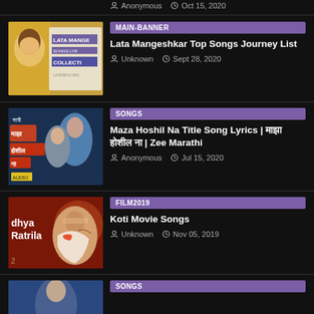Anonymous · Oct 15, 2020
MAIN-BANNER | Lata Mangeshkar Top Songs Journey List | Unknown · Sept 28, 2020
SONGS | Maza Hoshil Na Title Song Lyrics | माझा होशील ना | Zee Marathi | Anonymous · Jul 15, 2020
FILM2019 | Koti Movie Songs | Unknown · Nov 05, 2019
SONGS (partial)